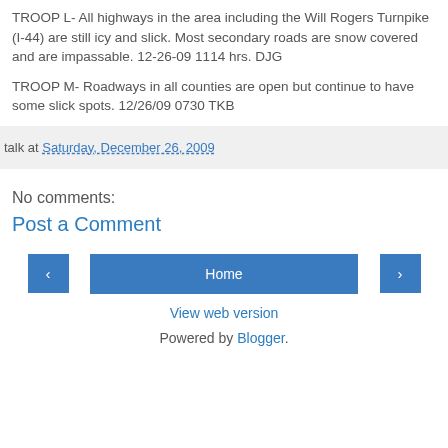TROOP L- All highways in the area including the Will Rogers Turnpike (I-44) are still icy and slick. Most secondary roads are snow covered and are impassable. 12-26-09 1114 hrs. DJG
TROOP M- Roadways in all counties are open but continue to have some slick spots. 12/26/09 0730 TKB
talk at Saturday, December 26, 2009
No comments:
Post a Comment
Home
View web version
Powered by Blogger.